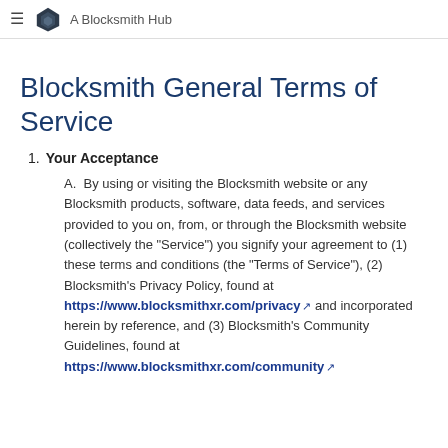A Blocksmith Hub
Blocksmith General Terms of Service
1. Your Acceptance
A. By using or visiting the Blocksmith website or any Blocksmith products, software, data feeds, and services provided to you on, from, or through the Blocksmith website (collectively the "Service") you signify your agreement to (1) these terms and conditions (the "Terms of Service"), (2) Blocksmith's Privacy Policy, found at https://www.blocksmithxr.com/privacy and incorporated herein by reference, and (3) Blocksmith's Community Guidelines, found at https://www.blocksmithxr.com/community